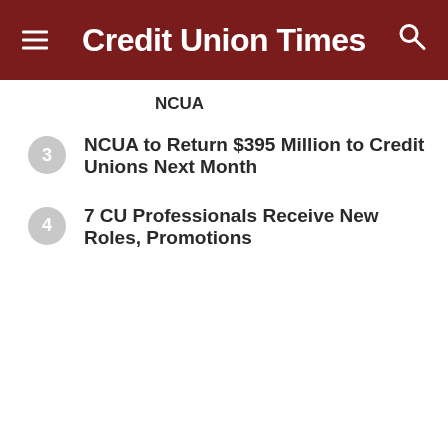Credit Union Times
NCUA
3 NCUA to Return $395 Million to Credit Unions Next Month
4 7 CU Professionals Receive New Roles, Promotions